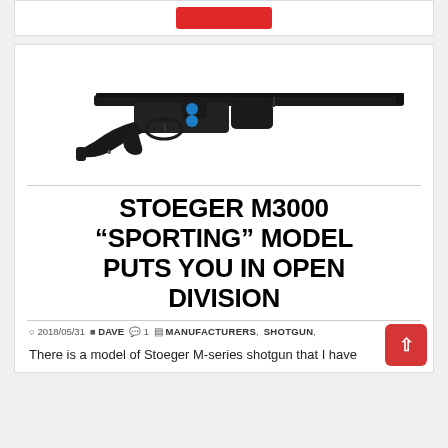[Figure (photo): Red button/banner at top of page, partially visible]
[Figure (photo): Stoeger M3000 semi-automatic shotgun in black, shown in profile against a white background]
STOEGER M3000 “SPORTING” MODEL PUTS YOU IN OPEN DIVISION
2018/05/31  DAVE  1  MANUFACTURERS,  SHOTGUN,
There is a model of Stoeger M-series shotgun that I have